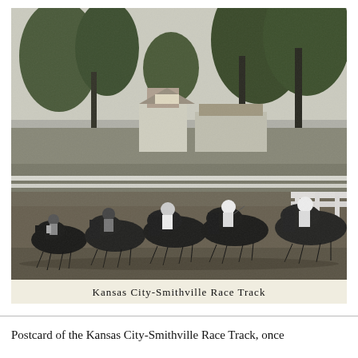[Figure (photo): Black and white historical photograph of a horse race in progress at the Kansas City-Smithville Race Track. Multiple horses and jockeys are racing along a dirt track, with trees, grandstand structures, and fencing visible in the background. The caption 'Kansas City-Smithville Race Track' appears on a light band at the bottom of the photo.]
Kansas City-Smithville Race Track
Postcard of the Kansas City-Smithville Race Track, once